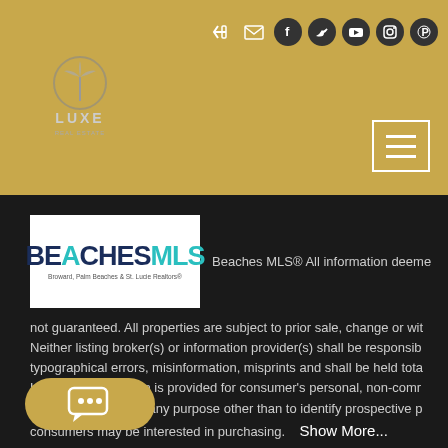[Figure (logo): LUXE real estate logo - gold emblem with palm tree and LUXE text]
[Figure (screenshot): Social media icons row: login, email, Facebook, Twitter, YouTube, Instagram, Pinterest]
[Figure (other): Hamburger menu button - three white horizontal lines in white bordered rectangle]
[Figure (logo): Beaches MLS logo - blue and teal text reading BEACHES MLS with subtitle Broward, Palm Beaches & St. Lucie Realtors]
Beaches MLS® All information deemed not guaranteed. All properties are subject to prior sale, change or wit... Neither listing broker(s) or information provider(s) shall be responsib... typographical errors, misinformation, misprints and shall be held tota... Listing(s) information is provided for consumer's personal, non-comr... may not be used for any purpose other than to identify prospective p... consumers may be interested in purchasing.   Show More...